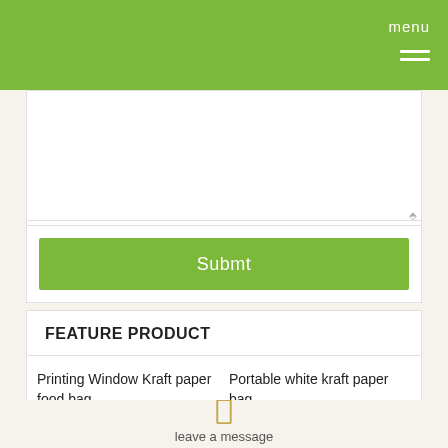menu
[textarea input field]
Submt
FEATURE PRODUCT
Printing Window Kraft paper food bag
More
Portable white kraft paper bag
More
leave a message